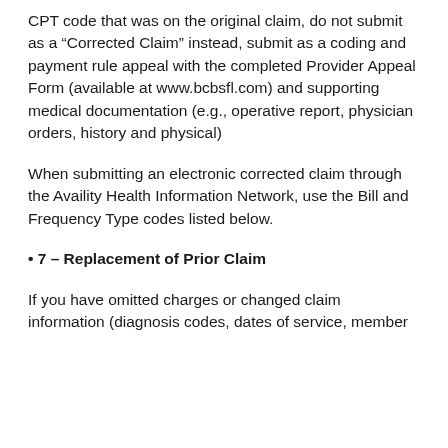CPT code that was on the original claim, do not submit as a “Corrected Claim” instead, submit as a coding and payment rule appeal with the completed Provider Appeal Form (available at www.bcbsfl.com) and supporting medical documentation (e.g., operative report, physician orders, history and physical)
When submitting an electronic corrected claim through the Availity Health Information Network, use the Bill and Frequency Type codes listed below.
• 7 – Replacement of Prior Claim
If you have omitted charges or changed claim information (diagnosis codes, dates of service, member